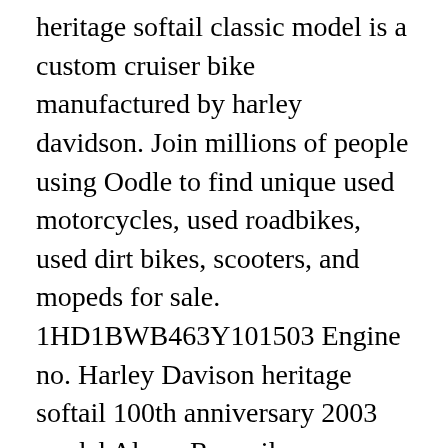heritage softail classic model is a custom cruiser bike manufactured by harley davidson. Join millions of people using Oodle to find unique used motorcycles, used roadbikes, used dirt bikes, scooters, and mopeds for sale. 1HD1BWB463Y101503 Engine no. Harley Davison heritage softail 100th anniversary 2003 model Alarm Rare silver over black fast becoming a collectors item White walls front and rear 21in 80 spoke chrome front rim (ride wright) Have all original parts seat, screen, saddle bags, pipes etc Few chrome bits fitted, switch's, Centre console, switch blocks etc etc Have a brand new set of chrome fishtails (not fitted) And ... 1150 Harley-Davidson Heritage